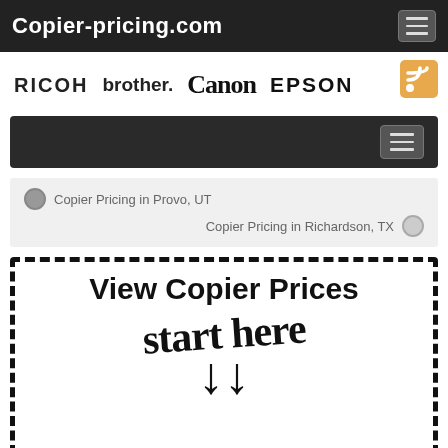Copier-pricing.com
[Figure (logo): Brand logos: RICOH, brother, Canon, EPSON displayed in a row with an RSS icon]
[Figure (screenshot): Secondary dark navigation bar with hamburger menu icon]
Copier Pricing in Provo, UT
Copier Pricing in Richardson, TX
[Figure (infographic): Dashed border box with 'View Copier Prices' heading and handwritten 'start here' with downward arrow]